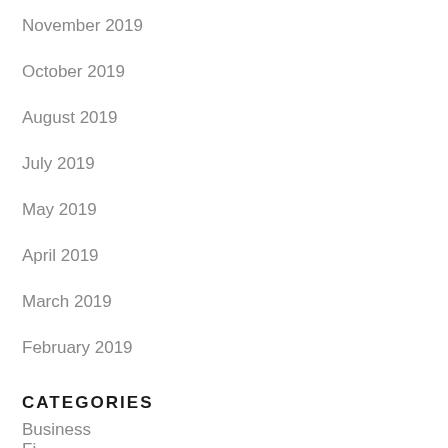November 2019
October 2019
August 2019
July 2019
May 2019
April 2019
March 2019
February 2019
CATEGORIES
Business
Fi...